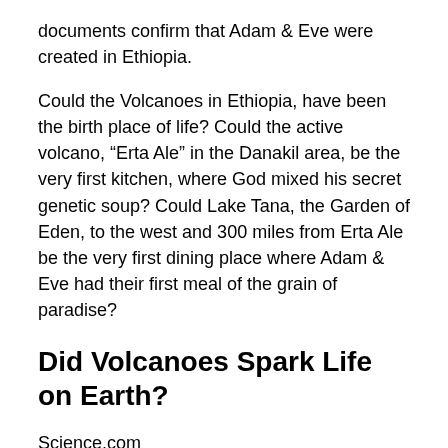documents confirm that Adam & Eve were created in Ethiopia.
Could the Volcanoes in Ethiopia, have been the birth place of life? Could the active volcano, “Erta Ale” in the Danakil area, be the very first kitchen, where God mixed his secret genetic soup? Could Lake Tana, the Garden of Eden, to the west and 300 miles from Erta Ale be the very first dining place where Adam & Eve had their first meal of the grain of paradise?
Did Volcanoes Spark Life on Earth?
Science.com
16 October 2008
A once-discarded idea about how life started on our